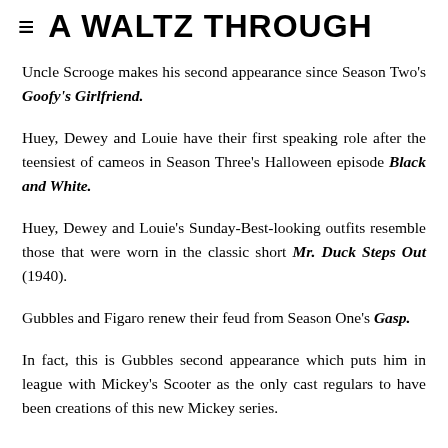≡ A WALTZ THROUGH
Uncle Scrooge makes his second appearance since Season Two's Goofy's Girlfriend.
Huey, Dewey and Louie have their first speaking role after the teensiest of cameos in Season Three's Halloween episode Black and White.
Huey, Dewey and Louie's Sunday-Best-looking outfits resemble those that were worn in the classic short Mr. Duck Steps Out (1940).
Gubbles and Figaro renew their feud from Season One's Gasp.
In fact, this is Gubbles second appearance which puts him in league with Mickey's Scooter as the only cast regulars to have been creations of this new Mickey series.